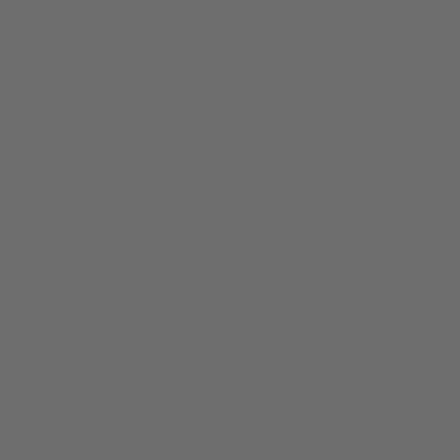[Figure (photo): Gray background photo with torn paper edge effect on the right side]
| # | Team |
| --- | --- |
| 8 | Constancia |
| 9 | Binissalem |
| 10 | Santa Catalin... |
| 11 | Ciudad de Ib... |
| 12 | Ferriolense |
| 13 | Felanitx |
| 14 | Son Cladera |
| 15 | Esporles |
| 16 | Mercadal |
| 17 | Collerense |
| 18 | Rotlet Molina |
| 19 | Ciutadella (R) |
| 20 | Campos (R) |
Updated to match(es) pla...
Rules for classification: 1...
play points; 7) playoff ma...